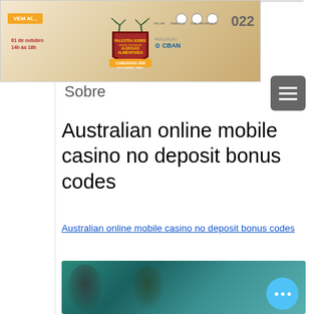[Figure (screenshot): Website banner for CBAN/Femepa event about Alergias Alimentares at COINE/RENAE 2020, Rio de Janeiro, Brazil. Shows orange 'VEM AÍ...' label, date '01 de outubro 14h às 18h', shield logo, CBAN logo, and year 2022.]
Sobre
Australian online mobile casino no deposit bonus codes
Australian online mobile casino no deposit bonus codes
[Figure (photo): Blurred/pixelated image showing people silhouettes against a teal/turquoise background, with a light blue circular button with three white dots in bottom right corner.]